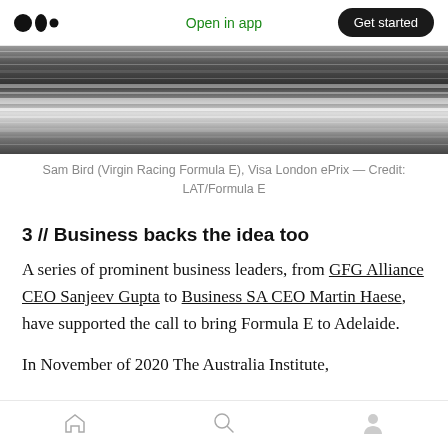Medium app header — Open in app | Get started
[Figure (photo): Motion-blurred photograph of a Formula E racing car, showing dark horizontal blur streaks suggesting high speed. Sam Bird (Virgin Racing Formula E), Visa London ePrix.]
Sam Bird (Virgin Racing Formula E), Visa London ePrix — Credit: LAT/Formula E
3 // Business backs the idea too
A series of prominent business leaders, from GFG Alliance CEO Sanjeev Gupta to Business SA CEO Martin Haese, have supported the call to bring Formula E to Adelaide.
In November of 2020 The Australia Institute,
Bottom navigation: Home | Search | Profile